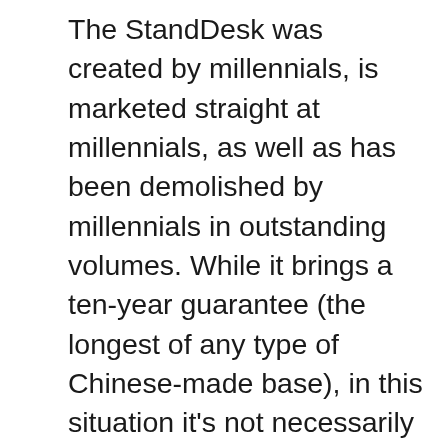The StandDesk was created by millennials, is marketed straight at millennials, as well as has been demolished by millennials in outstanding volumes. While it brings a ten-year guarantee (the longest of any type of Chinese-made base), in this situation it's not necessarily a reliable sign of the expected valuable life of the training columns. But also for the cost, the StandDesk is a wonderful lower-cost option to the UpLift, Jarvis and various other Chinese-made desks. Regardless of its stability problems this is a much much better item than the Autonomous SmartDesk or IKEA Bekant could ever before want to be, as well as a good value in general. It's the mid-priced offering in the broad classification of Chinese-made desks that is gaining